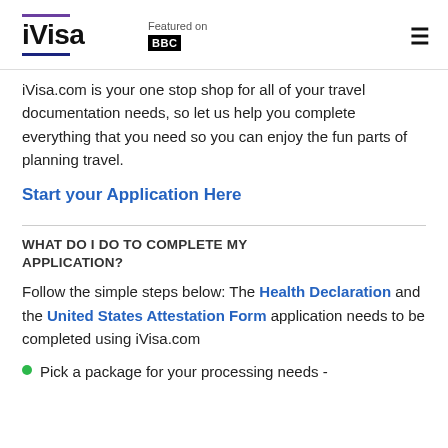iVisa — Featured on BBC
iVisa.com is your one stop shop for all of your travel documentation needs, so let us help you complete everything that you need so you can enjoy the fun parts of planning travel.
Start your Application Here
WHAT DO I DO TO COMPLETE MY APPLICATION?
Follow the simple steps below: The Health Declaration and the United States Attestation Form application needs to be completed using iVisa.com
Pick a package for your processing needs -